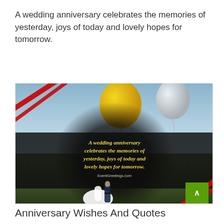A wedding anniversary celebrates the memories of yesterday, joys of today and lovely hopes for tomorrow.
[Figure (photo): Wedding photo with couple holding balloons in a field, overlaid with a semi-transparent dark band containing the quote text in yellow italic font, red diagonal stripes in corners, EventGreetings.com watermark, and a green back-to-top arrow button.]
Anniversary Wishes And Quotes